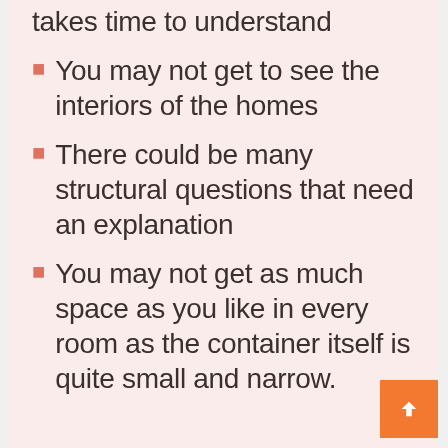takes time to understand
You may not get to see the interiors of the homes
There could be many structural questions that need an explanation
You may not get as much space as you like in every room as the container itself is quite small and narrow.